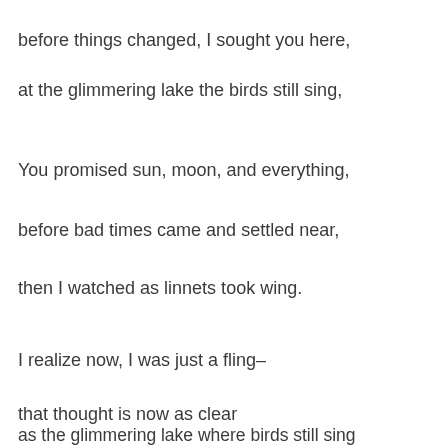before things changed, I sought you here,
at the glimmering lake the birds still sing,
You promised sun, moon, and everything,
before bad times came and settled near,
then I watched as linnets took wing.
I realize now, I was just a fling–
that thought is now as clear
as the glimmering lake where birds still sing